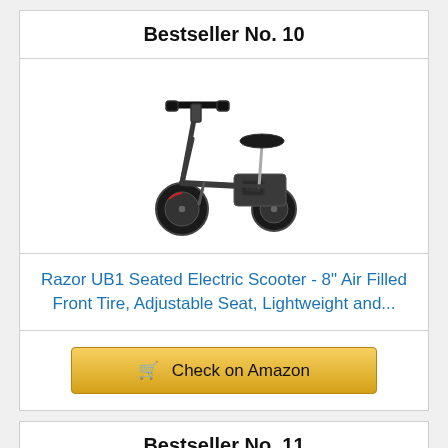Bestseller No. 10
[Figure (photo): Razor UB1 seated electric scooter, dark gray, with handlebars, seat, and single front wheel]
Razor UB1 Seated Electric Scooter - 8" Air Filled Front Tire, Adjustable Seat, Lightweight and...
Check on Amazon
Bestseller No. 11